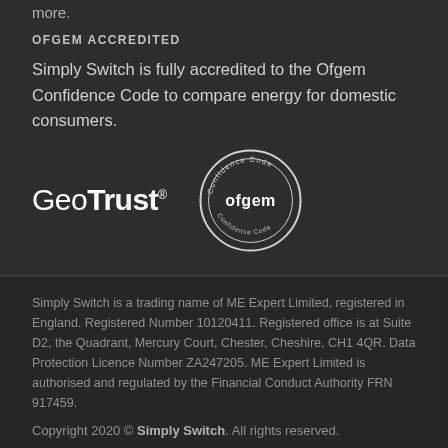more.
OFGEM ACCREDITED
Simply Switch is fully accredited to the Ofgem Confidence Code to compare energy for domestic consumers.
[Figure (logo): GeoTrust logo and Ofgem Confidence Code circular badge side by side]
Simply Switch is a trading name of ME Expert Limited, registered in England. Registered Number 10120411. Registered office is at Suite D2, the Quadrant, Mercury Court, Chester, Cheshire, CH1 4QR. Data Protection Licence Number ZA247205. ME Expert Limited is authorised and regulated by the Financial Conduct Authority FRN 917459.
Copyright 2020 © Simply Switch. All rights reserved.